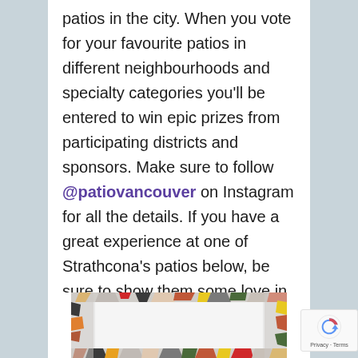patios in the city. When you vote for your favourite patios in different neighbourhoods and specialty categories you'll be entered to win epic prizes from participating districts and sponsors. Make sure to follow @patiovancouver on Instagram for all the details. If you have a great experience at one of Strathcona's patios below, be sure to show them some love in the contest.
[Figure (photo): Bottom portion of a terrazzo-patterned image with colorful tile fragments on a white background, partially visible at bottom of page]